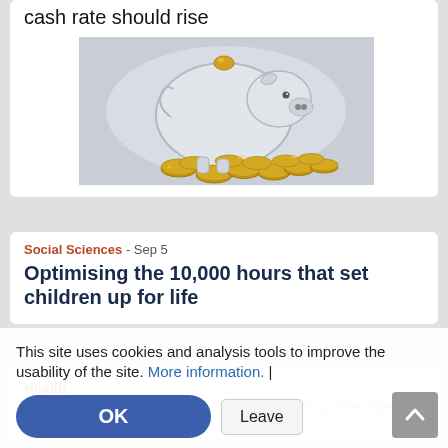cash rate should rise
[Figure (photo): A glass or silver piggy bank tipped on its side with gold coins spilling out onto a white/grey background.]
Social Sciences - Sep 5
Optimising the 10,000 hours that set children up for life
Health
India visit strengthens more industry and education partnerships
This site uses cookies and analysis tools to improve the usability of the site. More information. |
OK
Leave